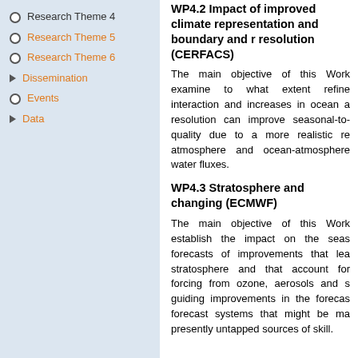Research Theme 4
Research Theme 5
Research Theme 6
Dissemination
Events
Data
WP4.2 Impact of improved climate representation and boundary and resolution (CERFACS)
The main objective of this Work examine to what extent refined interaction and increases in ocean a resolution can improve seasonal-to- quality due to a more realistic re atmosphere and ocean-atmosphere water fluxes.
WP4.3 Stratosphere and changing (ECMWF)
The main objective of this Work establish the impact on the seas forecasts of improvements that lea stratosphere and that account for forcing from ozone, aerosols and s guiding improvements in the forecas forecast systems that might be ma presently untapped sources of skill.